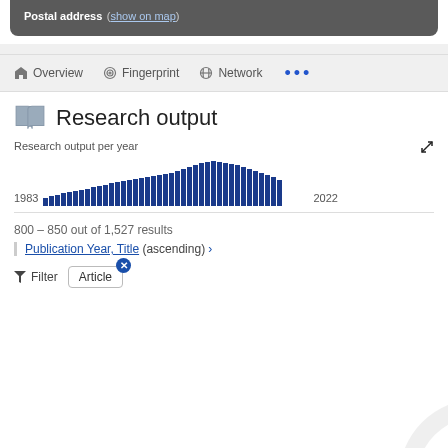Postal address (show on map)
Overview   Fingerprint   Network   ...
Research output
[Figure (bar-chart): Research output per year]
800 – 850 out of 1,527 results
Publication Year, Title (ascending) ›
Filter   Article